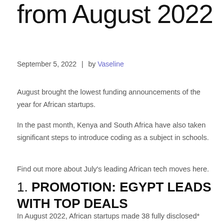from August 2022
September 5, 2022 | by Vaseline
August brought the lowest funding announcements of the year for African startups.
In the past month, Kenya and South Africa have also taken significant steps to introduce coding as a subject in schools.
Find out more about July's leading African tech moves here.
1. PROMOTION: EGYPT LEADS WITH TOP DEALS
In August 2022, African startups made 38 fully disclosed* raises totaling $218,000,000. So far, that total is the lowest total raised from African